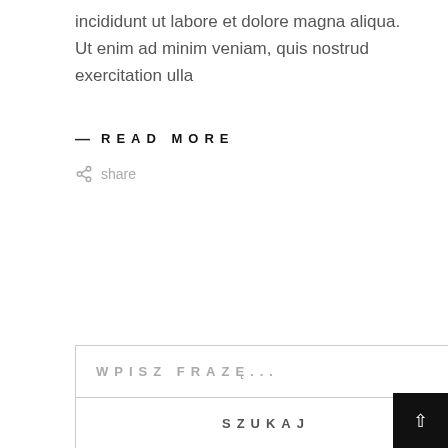incididunt ut labore et dolore magna aliqua. Ut enim ad minim veniam, quis nostrud exercitation ulla
— READ MORE
share
WPISZ FRAZĘ...
SZUKAJ